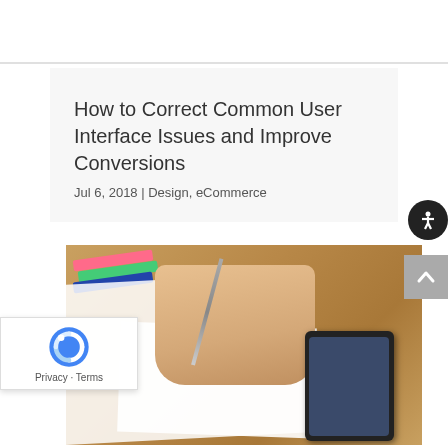How to Correct Common User Interface Issues and Improve Conversions
Jul 6, 2018 | Design, eCommerce
[Figure (photo): Person writing on paper with a pen, with a smartphone, color markers, sticky note, and UI wireframes on a wooden desk.]
Privacy · Terms